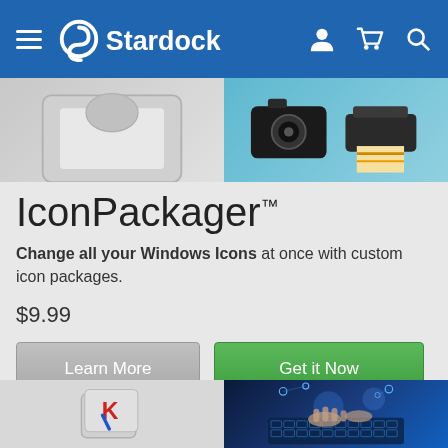Stardock navigation bar with hamburger menu, Stardock logo, user/cart/search icons
[Figure (screenshot): Product image strip showing partial product screenshots - left side gray product image, right side camera and printer on teal background]
IconPackager™
Change all your Windows Icons at once with custom icon packages.
$9.99
Learn More
Get it Now
Free Download
[Figure (screenshot): Bottom product images - left shows keyboard shortcut key icon with red and blue K letter, right shows hands typing on illuminated keyboard with digital network overlay]